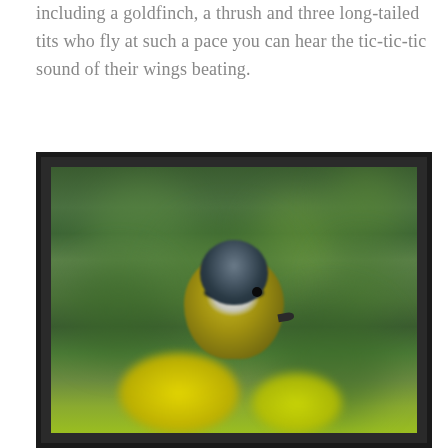including a goldfinch, a thrush and three long-tailed tits who fly at such a pace you can hear the tic-tic-tic sound of their wings beating.
[Figure (photo): Close-up photograph of a small bird (blue tit) with a yellow-green fluffy body, dark and white patterned head with a small dark beak, perched facing forward against a blurred green bokeh background with bright yellow flowers at the bottom.]